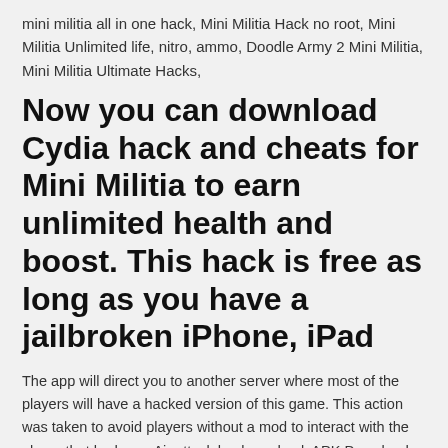mini militia all in one hack, Mini Militia Hack no root, Mini Militia Unlimited life, nitro, ammo, Doodle Army 2 Mini Militia, Mini Militia Ultimate Hacks,
Now you can download Cydia hack and cheats for Mini Militia to earn unlimited health and boost. This hack is free as long as you have a jailbroken iPhone, iPad
The app will direct you to another server where most of the players will have a hacked version of this game. This action was taken to avoid players without a mod to interact with the player that had one. Air attack hack mod apk APK Download April 11, 2016 July 10, 2018...